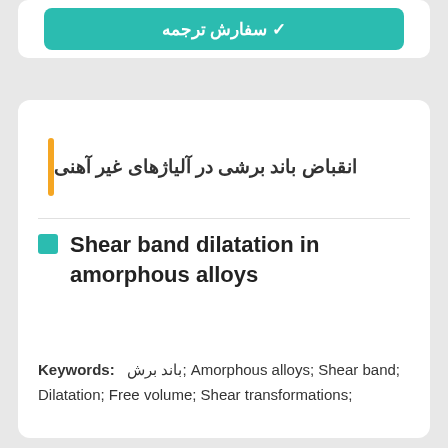✓ سفارش ترجمه
انقباض باند برشی در آلیاژهای غیر آهنی
Shear band dilatation in amorphous alloys
Keywords: باند برش; Amorphous alloys; Shear band; Dilatation; Free volume; Shear transformations;